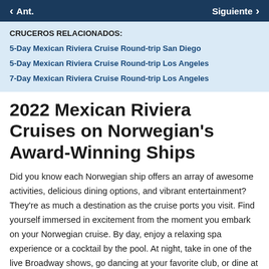Ant.   Siguiente
CRUCEROS RELACIONADOS:
5-Day Mexican Riviera Cruise Round-trip San Diego
5-Day Mexican Riviera Cruise Round-trip Los Angeles
7-Day Mexican Riviera Cruise Round-trip Los Angeles
2022 Mexican Riviera Cruises on Norwegian's Award-Winning Ships
Did you know each Norwegian ship offers an array of awesome activities, delicious dining options, and vibrant entertainment? They're as much a destination as the cruise ports you visit. Find yourself immersed in excitement from the moment you embark on your Norwegian cruise. By day, enjoy a relaxing spa experience or a cocktail by the pool. At night, take in one of the live Broadway shows, go dancing at your favorite club, or dine at a specialty restaurant. ¡La decisión es tuya!